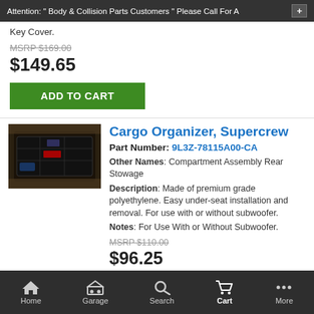Attention: " Body & Collision Parts Customers " Please Call For A
Key Cover.
MSRP $169.00
$149.65
ADD TO CART
Cargo Organizer, Supercrew
Part Number: 9L3Z-78115A00-CA
Other Names: Compartment Assembly Rear Stowage
Description: Made of premium grade polyethylene. Easy under-seat installation and removal. For use with or without subwoofer.
Notes: For Use With or Without Subwoofer.
MSRP $110.00
$96.25
Home  Garage  Search  Cart  More